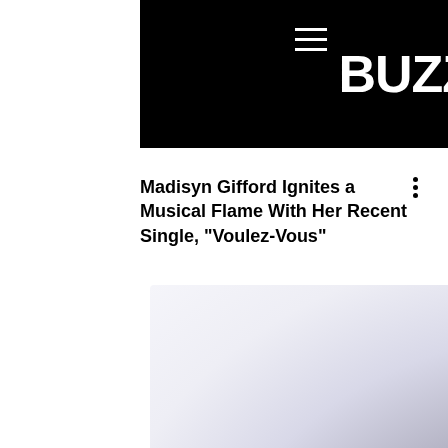[Figure (logo): BuzzMusic logo on black background with hamburger menu icon]
Madisyn Gifford Ignites a Musical Flame With Her Recent Single, "Voulez-Vous"
[Figure (photo): Blurred/faded article image with light purple-grey gradient background]